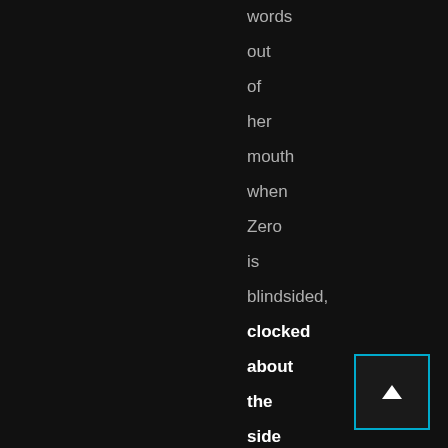words
out
of
her
mouth
when
Zero
is
blindside,
clocked
about
the
side
of
the
head
with
[Figure (other): Navigation button: small square with cyan/blue border containing an upward-pointing triangle arrow, positioned in the bottom-right corner]